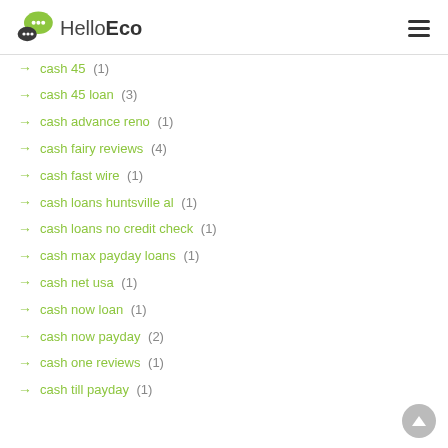HelloEco
cash 45 (1)
cash 45 loan (3)
cash advance reno (1)
cash fairy reviews (4)
cash fast wire (1)
cash loans huntsville al (1)
cash loans no credit check (1)
cash max payday loans (1)
cash net usa (1)
cash now loan (1)
cash now payday (2)
cash one reviews (1)
cash till payday (1)